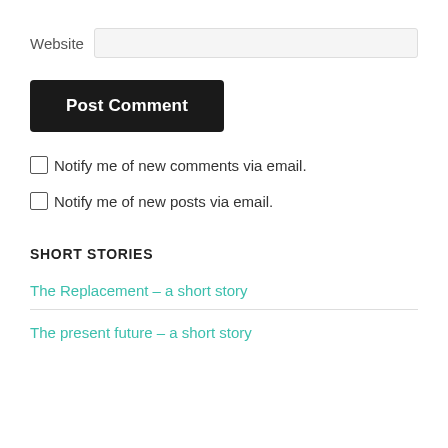Website
Post Comment
Notify me of new comments via email.
Notify me of new posts via email.
SHORT STORIES
The Replacement – a short story
The present future – a short story